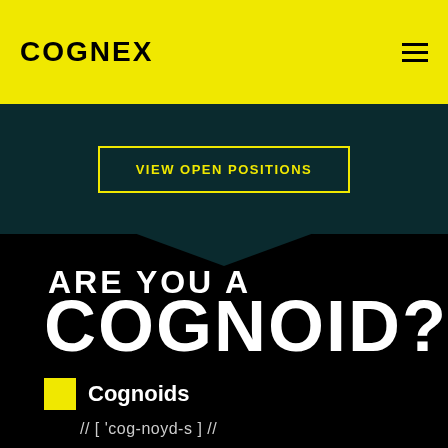COGNEX
VIEW OPEN POSITIONS
ARE YOU A COGNOID?
Cognoids
// [ 'cog-noyd-s ] //